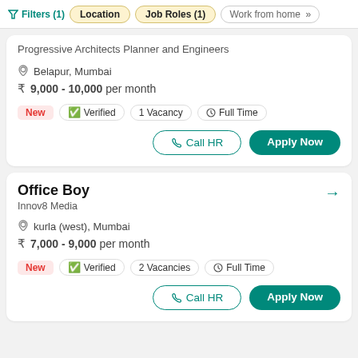Filters (1)  Location  Job Roles (1)  Work from home >>
Progressive Architects Planner and Engineers
Belapur, Mumbai
₹ 9,000 - 10,000 per month
New  Verified  1 Vacancy  Full Time
Call HR  Apply Now
Office Boy
Innov8 Media
kurla (west), Mumbai
₹ 7,000 - 9,000 per month
New  Verified  2 Vacancies  Full Time
Call HR  Apply Now